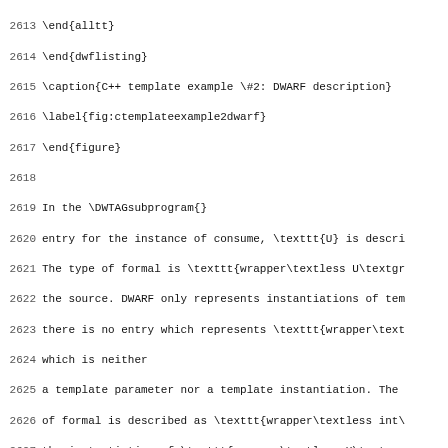Code listing lines 2613-2645, LaTeX source for DWARF/C++ template documentation
2613 \end{alltt}
2614 \end{dwflisting}
2615 \caption{C++ template example \#2: DWARF description}
2616 \label{fig:ctemplateexample2dwarf}
2617 \end{figure}
2618
2619 In the \DWTAGsubprogram{}
2620 entry for the instance of consume, \texttt{U} is descri
2621 The type of formal is \texttt{wrapper\textless U\textgr
2622 the source. DWARF only represents instantiations of tem
2623 there is no entry which represents \texttt{wrapper\text
2624 which is neither
2625 a template parameter nor a template instantiation. The
2626 of formal is described as \texttt{wrapper\textless int\
2627 the instantiation of \texttt{wrapper\textless U\textgre
2628 in the \DWATtype{} attribute at
2629 23\$.
2630 There is no
2631 description of the relationship between template type p
2632 \texttt{T} at 12\$ and \texttt{U} at 22\$ which was use
2633 \texttt{wrapper\textless U\textgreater}.
2634
2635 A consequence of this is that the DWARF information wou
2636 not distinguish between the existing example and one wh
2637 the formal parameter of \texttt{consume} were declared
2638 \texttt{wrapper\textless int\textgreater}.
2639
2640
2641 \section{Template Alias Examples}
2642 \label{app:templatealiasexample}
2643
2644 The \addtoindex{C++} template alias shown in
2645 Figure~\ref{fig:ctemplatealiasexample1}...